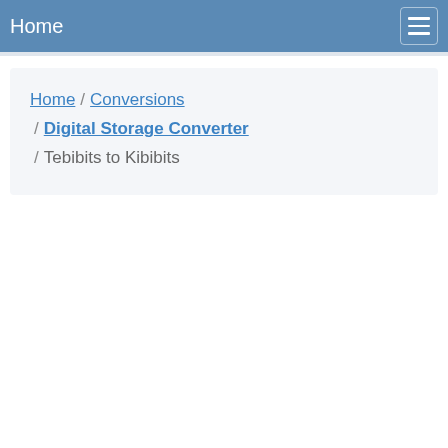Home
Home / Conversions / Digital Storage Converter / Tebibits to Kibibits